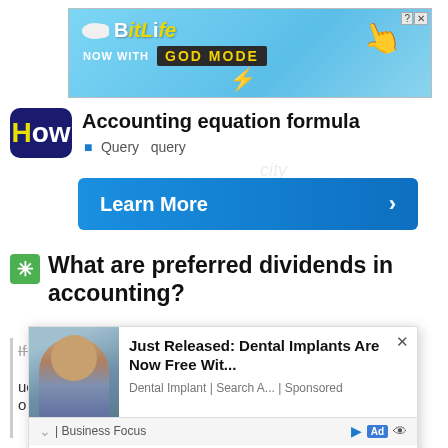[Figure (screenshot): BitLife 'NOW WITH GOD MODE' advertisement banner with light blue background]
[Figure (logo): HowStuffWorks 'How' logo in dark blue rounded rectangle with yellow H]
Accounting equation formula
Query  query
[Figure (screenshot): Blue 'Learn More' button with right arrow]
What are preferred dividends in accounting?
If a company cannot pay dividends to its preferred...ue and...o pay...re of prefe
[Figure (screenshot): Popup advertisement: 'Just Released: Dental Implants Are Now Free Wit...' from Dental Implant | Search A... | Sponsored, with woman photo and 'BEST BOTTLED WATER BRANDS OF 2022' list item]